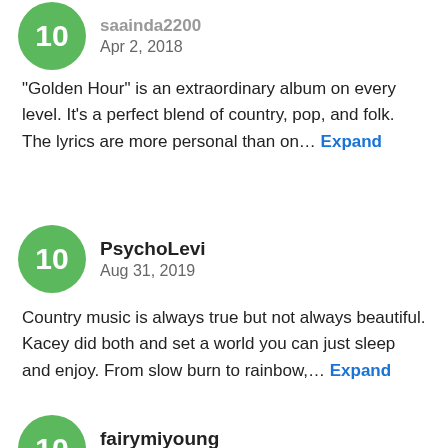"Golden Hour" is an extraordinary album on every level. It's a perfect blend of country, pop, and folk. The lyrics are more personal than on… Expand
PsychoLevi
Aug 31, 2019
Country music is always true but not always beautiful. Kacey did both and set a world you can just sleep and enjoy. From slow burn to rainbow,… Expand
fairymiyoung
Mar 24, 2021
Simply amazing. The fact that she really did a great job here makes me wanna cry because it's a entirely beautiful album.